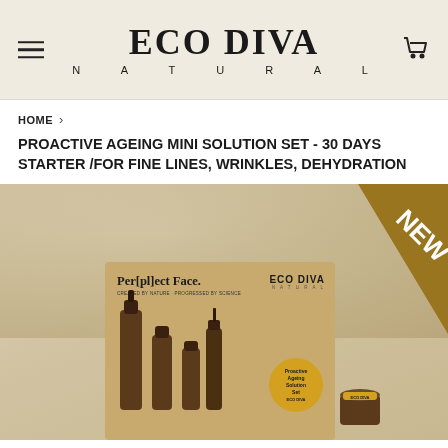ECO DIVA NATURAL
HOME
PROACTIVE AGEING MINI SOLUTION SET - 30 DAYS STARTER /FOR FINE LINES, WRINKLES, DEHYDRATION
[Figure (photo): Product photo of Eco Diva Natural Proactive Ageing Mini Solution Set showing a kraft-colored box labeled 'Per[pl]ect Face. ECO DIVA' with several amber glass bottles and jars arranged in front. A golden 'NEW' badge appears in the top-right corner of the image.]